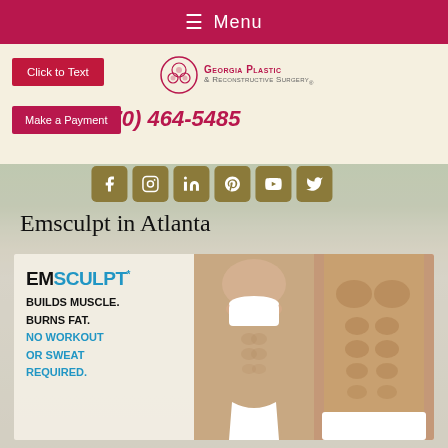≡  Menu
[Figure (logo): Georgia Plastic & Reconstructive Surgery logo with circular emblem]
Click to Text
(770) 464-5485
Make a Payment
[Figure (infographic): Six social media icons: Facebook, Instagram, LinkedIn, Pinterest, YouTube, Twitter in olive/gold rounded squares]
Emsculpt in Atlanta
[Figure (photo): EMSCULPT promotional image showing toned female and male torsos in white athletic wear, with text: EMSCULPT* BUILDS MUSCLE. BURNS FAT. NO WORKOUT OR SWEAT REQUIRED.]